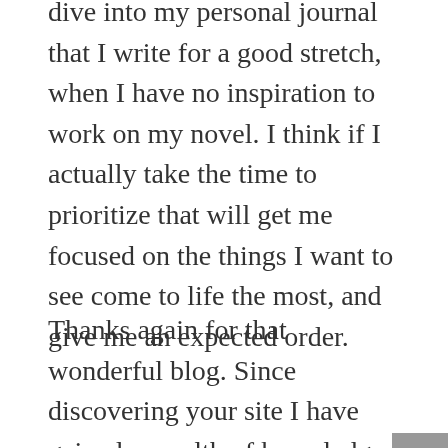dive into my personal journal that I write for a good stretch, when I have no inspiration to work on my novel. I think if I actually take the time to prioritize that will get me focused on the things I want to see come to life the most, and give me an expected order.
Thanks again for that wonderful blog. Since discovering your site I have gained a wealth of knowledge and insight into the craft of writing and I am actually thinking about actively pursuing an Associates Degree in Creative Writing at Northland by January.